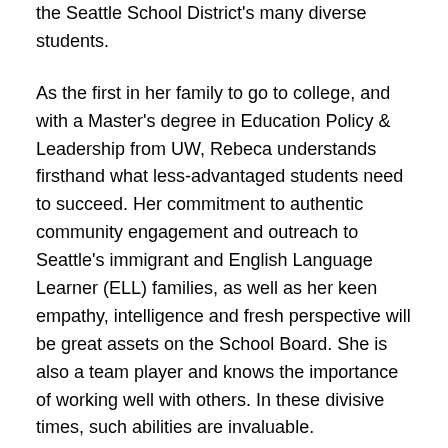the Seattle School District's many diverse students.
As the first in her family to go to college, and with a Master's degree in Education Policy & Leadership from UW, Rebeca understands firsthand what less-advantaged students need to succeed. Her commitment to authentic community engagement and outreach to Seattle's immigrant and English Language Learner (ELL) families, as well as her keen empathy, intelligence and fresh perspective will be great assets on the School Board. She is also a team player and knows the importance of working well with others. In these divisive times, such abilities are invaluable.
Rebeca has earned the respect and endorsements of community and elected leaders like Estela Ortega (executive director of El Centro de la Raza), Sen. Bob